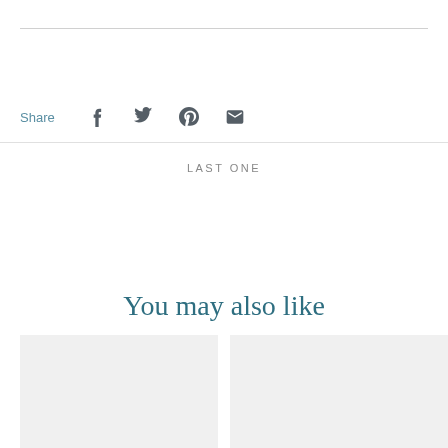Share
[Figure (infographic): Social share icons: Facebook, Twitter, Pinterest, Email]
LAST ONE
You may also like
[Figure (photo): Product image placeholder (left)]
[Figure (photo): Product image placeholder (right)]